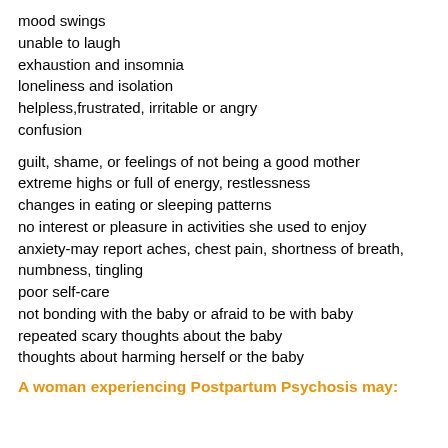mood swings
unable to laugh
exhaustion and insomnia
loneliness and isolation
helpless,frustrated, irritable or angry
confusion
guilt, shame, or feelings of not being a good mother
extreme highs or full of energy, restlessness
changes in eating or sleeping patterns
no interest or pleasure in activities she used to enjoy
anxiety-may report aches, chest pain, shortness of breath,
numbness, tingling
poor self-care
not bonding with the baby or afraid to be with baby
repeated scary thoughts about the baby
thoughts about harming herself or the baby
A woman experiencing Postpartum Psychosis may: